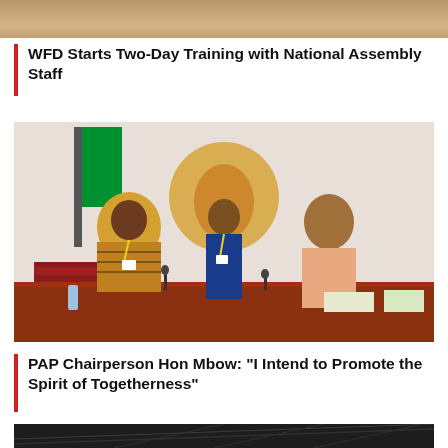[Figure (photo): Top cropped portion of a photo, showing a reddish-brown surface, partially visible.]
WFD Starts Two-Day Training with National Assembly Staff
[Figure (photo): Three people standing in front of a backdrop showing a map of Africa. On the left is an older man in traditional African attire with a yellow lanyard. In the center is a young man in a blue suit with a yellow lanyard. On the right is a woman in a peach/salmon colored jacket. They are standing behind a conference table with microphones and papers. A flag and African Union emblem are visible in the background.]
PAP Chairperson Hon Mbow: "I Intend to Promote the Spirit of Togetherness"
[Figure (photo): Bottom portion of a photo showing a dark interior space, possibly a large hall or arena with a roof structure visible.]